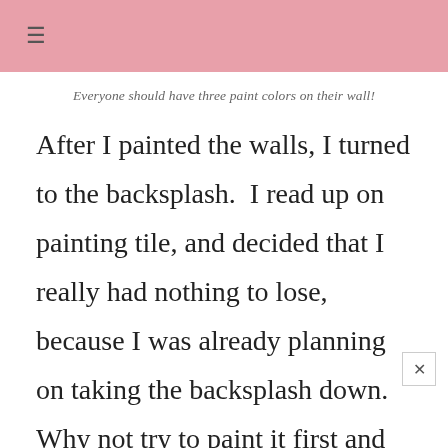≡
Everyone should have three paint colors on their wall!
After I painted the walls, I turned to the backsplash.  I read up on painting tile, and decided that I really had nothing to lose, because I was already planning on taking the backsplash down.  Why not try to paint it first and see if I could save time and money?  The brown of the tile really clashed with my countertops–they have some brown in them